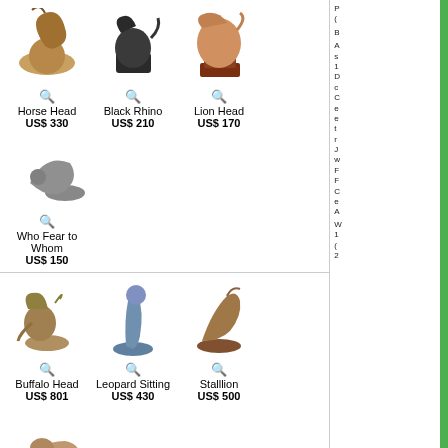[Figure (photo): Horse Head sculpture]
Horse Head
US$ 330
[Figure (photo): Black Rhino sculpture]
Black Rhino
US$ 210
[Figure (photo): Lion Head sculpture]
Lion Head
US$ 170
[Figure (photo): Who Fear to Whom sculpture]
Who Fear to Whom
US$ 150
[Figure (photo): Buffalo Head sculpture]
Buffalo Head
US$ 801
[Figure (photo): Leopard Sitting sculpture]
Leopard Sitting
US$ 430
[Figure (photo): Stalllion sculpture]
Stalllion
US$ 500
[Figure (photo): Resting sculpture]
Resting
US$ 150
[Figure (photo): Silver fox with koggelmander sculpture (partial)]
Silver fox with
koggelmander
[Figure (photo): Sitting Baboon sculpture (partial)]
Sitting Baboon